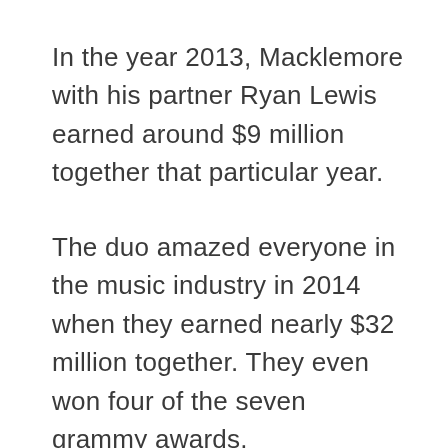In the year 2013, Macklemore with his partner Ryan Lewis earned around $9 million together that particular year.
The duo amazed everyone in the music industry in 2014 when they earned nearly $32 million together. They even won four of the seven grammy awards.
Aside from these, the duo won many titles including Best New Artist and Best Rap Album for The Heist. In all, Macklemore has a lot of and enough sources to earn hugely and to enjoy